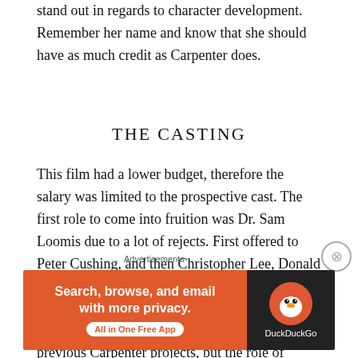stand out in regards to character development. Remember her name and know that she should have as much credit as Carpenter does.
THE CASTING
This film had a lower budget, therefore the salary was limited to the prospective cast. The first role to come into fruition was Dr. Sam Loomis due to a lot of rejects. First offered to Peter Cushing, and then Christopher Lee, Donald Pleasence adorned the iconic role, and we can't imagine anyone else. The other actors fell into place by relation of the crew or working on previous Carpenter projects, but the role of Laurie Strode was the last to
Advertisements
[Figure (infographic): DuckDuckGo advertisement banner with orange left panel reading 'Search, browse, and email with more privacy. All in One Free App' and dark right panel with DuckDuckGo logo and name.]